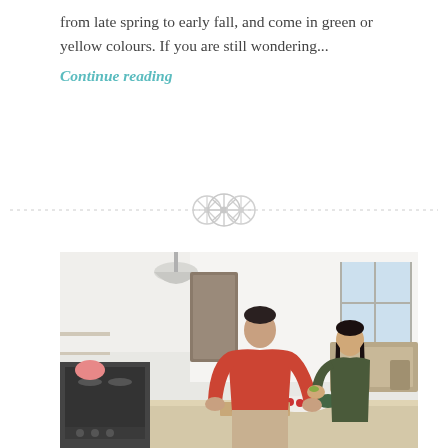from late spring to early fall, and come in green or yellow colours. If you are still wondering...
Continue reading
[Figure (other): Decorative divider with three circular button/snowflake icons between dashed lines]
[Figure (photo): A man in a red t-shirt chopping vegetables at a kitchen island counter, while a woman in a dark top stands across from him eating. Bright, modern white kitchen with pendant light, gas stove, and dining area visible in background.]